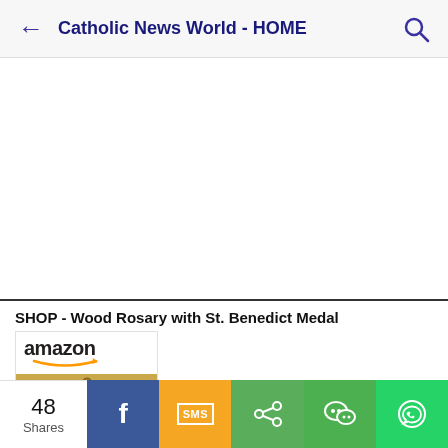Catholic News World - HOME
[Figure (other): Empty white advertisement/content area]
SHOP - Wood Rosary with St. Benedict Medal
[Figure (photo): Amazon product listing showing wood rosary beads with St. Benedict medal]
48 Shares
[Figure (infographic): Social sharing bar with Facebook, SMS, Share, WeChat, and WhatsApp buttons]